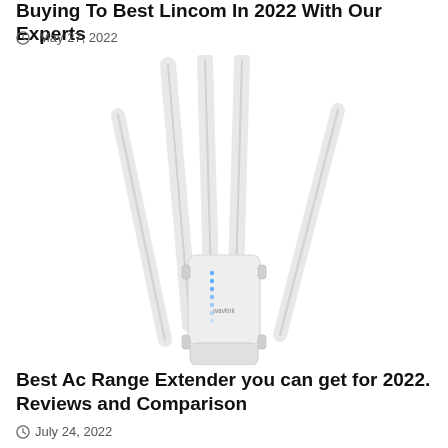Buying To Best Lincom In 2022 With Our Experts
May 27, 2022
[Figure (photo): White outdoor WiFi range extender/access point device with 4 large white antennas spreading outward, branded 'wavlink', on white background]
Best Ac Range Extender you can get for 2022. Reviews and Comparison
July 24, 2022